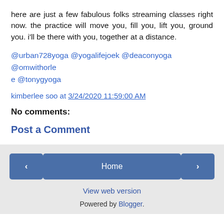here are just a few fabulous folks streaming classes right now. the practice will move you, fill you, lift you, ground you. i'll be there with you, together at a distance.
@urban728yoga @yogalifejoek @deaconyoga @omwithorlee @tonygyoga
kimberlee soo at 3/24/2020 11:59:00 AM
No comments:
Post a Comment
< Home > View web version Powered by Blogger.